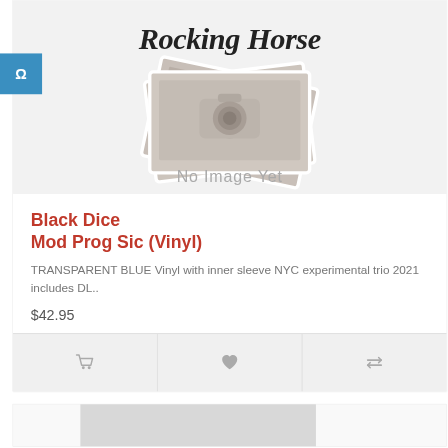[Figure (screenshot): Rocking Horse store logo with stacked photo placeholder cards showing 'No Image Yet' text on a light gray background]
Black Dice
Mod Prog Sic (Vinyl)
TRANSPARENT BLUE Vinyl with inner sleeve NYC experimental trio 2021 includes DL..
$42.95